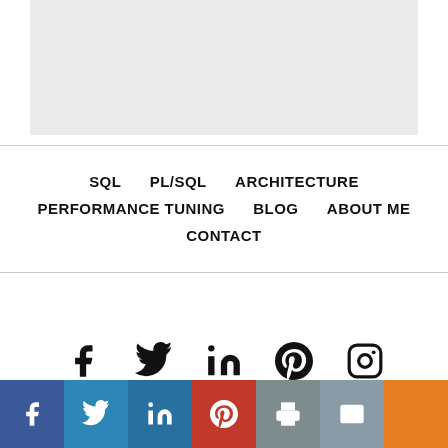[Figure (other): Gray rectangle placeholder image area at top]
SQL | PL/SQL | ARCHITECTURE | PERFORMANCE TUNING | BLOG | ABOUT ME | CONTACT
[Figure (infographic): Social media icons row: Facebook, Twitter, LinkedIn, Pinterest, Instagram]
Social share bar: Facebook, Twitter, LinkedIn, Pinterest, Print, Email, More